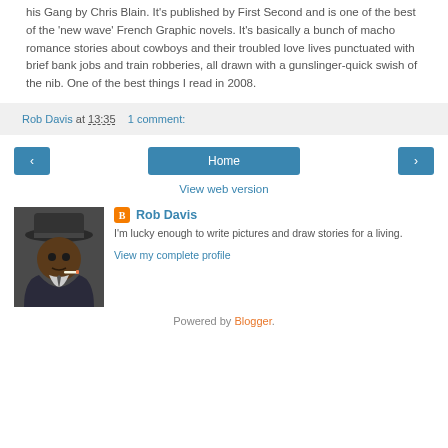his Gang by Chris Blain. It's published by First Second and is one of the best of the 'new wave' French Graphic novels. It's basically a bunch of macho romance stories about cowboys and their troubled love lives punctuated with brief bank jobs and train robberies, all drawn with a gunslinger-quick swish of the nib. One of the best things I read in 2008.
Rob Davis at 13:35   1 comment:
‹  Home  ›
View web version
Rob Davis
I'm lucky enough to write pictures and draw stories for a living.
View my complete profile
Powered by Blogger.